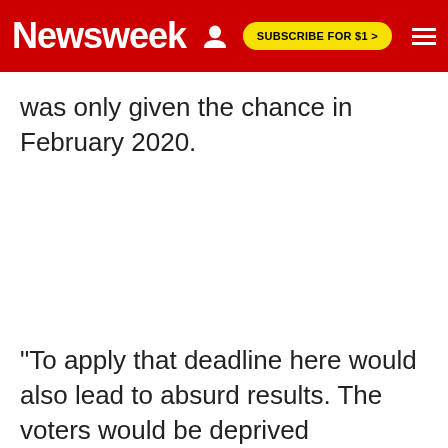Newsweek | SUBSCRIBE FOR $1 >
was only given the chance in February 2020.
"To apply that deadline here would also lead to absurd results. The voters would be deprived